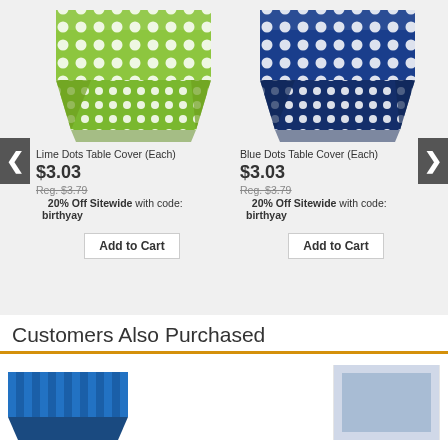[Figure (photo): Lime green polka dot table cover product image]
Lime Dots Table Cover (Each)
$3.03
Reg. $3.79
20% Off Sitewide with code: birthyay
Add to Cart
[Figure (photo): Blue polka dot table cover product image]
Blue Dots Table Cover (Each)
$3.03
Reg. $3.79
20% Off Sitewide with code: birthyay
Add to Cart
Customers Also Purchased
[Figure (photo): Blue striped table cover product image (partially visible)]
[Figure (photo): Light blue solid table cover product image (partially visible)]